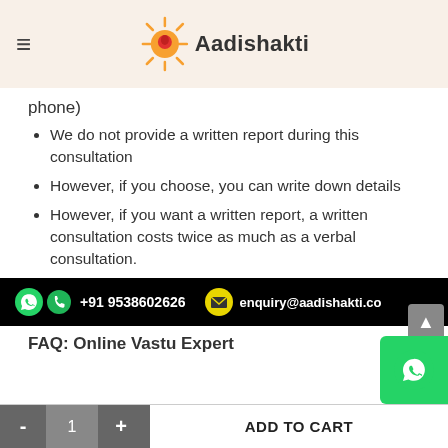Aadishakti
phone)
We do not provide a written report during this consultation
However, if you choose, you can write down details
However, if you want a written report, a written consultation costs twice as much as a verbal consultation.
[Figure (infographic): Black contact banner with WhatsApp icon, phone icon, +91 9538602626, email icon, enquiry@aadishakti.co]
FAQ: Online Vastu Expert
- 1 + ADD TO CART